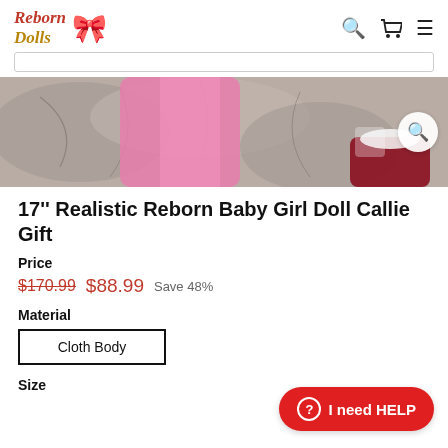Reborn Dolls
[Figure (photo): Close-up photo of a reborn baby doll dressed in pink clothing, lying on a textured surface]
17'' Realistic Reborn Baby Girl Doll Callie Gift
Price
$170.99  $88.99  Save 48%
Material
Cloth Body
I need HELP
Size